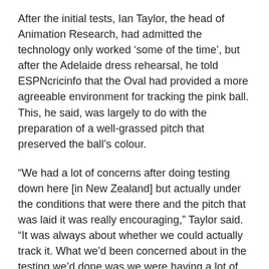After the initial tests, Ian Taylor, the head of Animation Research, had admitted the technology only worked ‘some of the time’, but after the Adelaide dress rehearsal, he told ESPNcricinfo that the Oval had provided a more agreeable environment for tracking the pink ball. This, he said, was largely to do with the preparation of a well-grassed pitch that preserved the ball’s colour.
“We had a lot of concerns after doing testing down here [in New Zealand] but actually under the conditions that were there and the pitch that was laid it was really encouraging,” Taylor said. “It was always about whether we could actually track it. What we’d been concerned about in the testing we’d done was we were having a lot of trouble tracking it, but with the right pitch and square it went really well.
“It was never just about the pink ball, it was about a whole combination of elements. The pitch was designed for the